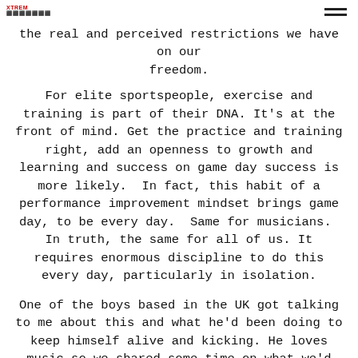XTREM [logo with dots]
the real and perceived restrictions we have on our freedom.
For elite sportspeople, exercise and training is part of their DNA. It's at the front of mind. Get the practice and training right, add an openness to growth and learning and success on game day success is more likely. In fact, this habit of a performance improvement mindset brings game day, to be every day. Same for musicians. In truth, the same for all of us. It requires enormous discipline to do this every day, particularly in isolation.
One of the boys based in the UK got talking to me about this and what he'd been doing to keep himself alive and kicking. He loves music so we shared some time on what we'd been listening to. We'd both been inspired by a number of music documentaries we had been watching. I mentioned The Who and Kate Bush